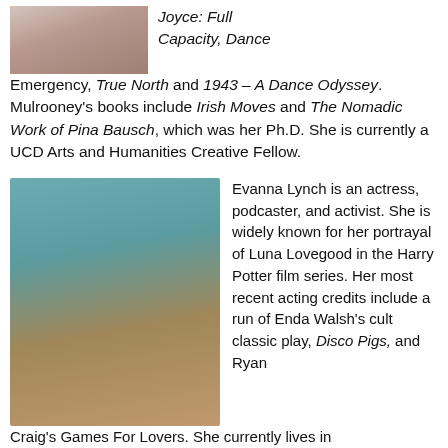[Figure (photo): Cropped photo of a woman with long hair, top portion visible]
Joyce: Full Capacity, Dance Emergency, True North and 1943 – A Dance Odyssey. Mulrooney's books include Irish Moves and The Nomadic Work of Pina Bausch, which was her Ph.D. She is currently a UCD Arts and Humanities Creative Fellow.
[Figure (photo): Photo of Evanna Lynch, a young woman with blonde hair wearing a dark blue top, smiling against a teal background]
Evanna Lynch is an actress, podcaster, and activist. She is widely known for her portrayal of Luna Lovegood in the Harry Potter film series. Her most recent acting credits include a run of Enda Walsh's cult classic play, Disco Pigs, and Ryan Craig's Games For Lovers. She currently lives in